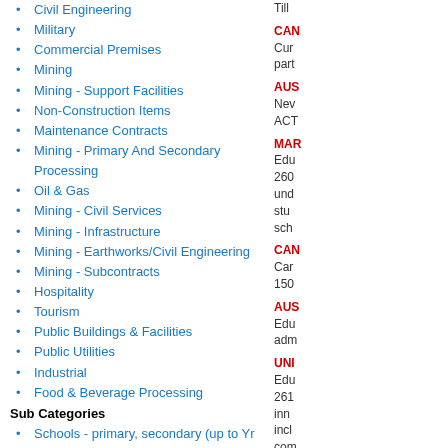Civil Engineering
Military
Commercial Premises
Mining
Mining - Support Facilities
Non-Construction Items
Maintenance Contracts
Mining - Primary And Secondary Processing
Oil & Gas
Mining - Civil Services
Mining - Infrastructure
Mining - Earthworks/Civil Engineering
Mining - Subcontracts
Hospitality
Tourism
Public Buildings & Facilities
Public Utilities
Industrial
Food & Beverage Processing
Sub Categories
Schools - primary, secondary (up to Yr 12)
Kindergartens, day nurseries, child care centres
Surgeries, Medical centres
Veterinary Clinics
Rehabilitation Centres, Youth Care Accommodation
Hospitals & associated buildings, mortuaries
Shops, shopping centres & arcades, supermarkets
Theatres, Cinemas
Drive-in cinemas, ampitheatres
Parks, Leisure grounds, Playgrounds
Amusement parks, Zoos
Showrooms, Retail warehouses, Retail markets, Bulky goods
Till
CAN
Cur
part
AUS
Nev
ACT
MAR
Edu
260
und
stu
sch
CAN
Car
150
AUS
Edu
adm
UNI
Edu
261
inn
incl
com
AUS
Edu